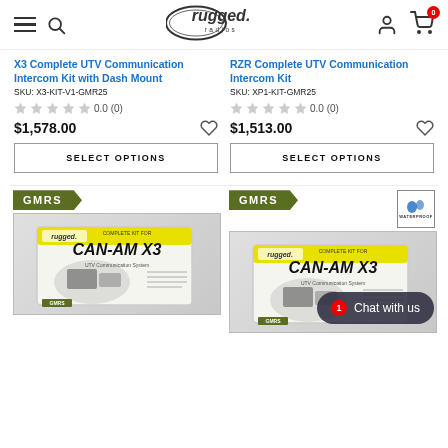Rugged Radios - navigation header with hamburger menu, search, logo, user icon, and cart (0)
X3 Complete UTV Communication Intercom Kit with Dash Mount
SKU: X3-KIT-V1-GMR25
★★★★★ 0.0 (0)
$1,578.00
SELECT OPTIONS
RZR Complete UTV Communication Intercom Kit
SKU: XP1-KIT-GMR25
★★★★★ 0.0 (0)
$1,513.00
SELECT OPTIONS
[Figure (photo): Product box image for CAN-AM X3 Complete Kit with GMRS badge]
[Figure (photo): Product box image for CAN-AM X3 kit with GMRS and Waterproof badges, chat bubble overlay showing '1 Chat with us']